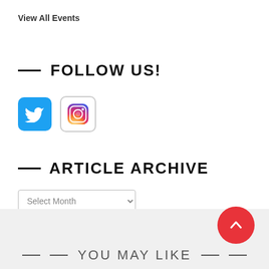View All Events
— FOLLOW US!
[Figure (other): Twitter bird logo icon (blue rounded square) and Instagram camera logo icon (bordered rounded square), side by side as social media links]
— ARTICLE ARCHIVE
Select Month (dropdown)
YOU MAY LIKE